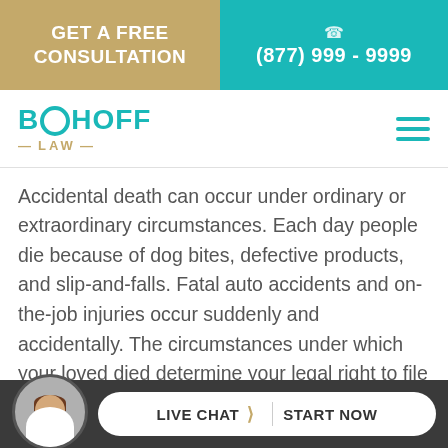GET A FREE CONSULTATION | (877) 999 - 9999
BOOHOFF LAW
Accidental death can occur under ordinary or extraordinary circumstances. Each day people die because of dog bites, defective products, and slip-and-falls. Fatal auto accidents and on-the-job injuries occur suddenly and accidentally. The circumstances under which your loved died determine your legal right to file a claim for wrongful death. The
LIVE CHAT  START NOW